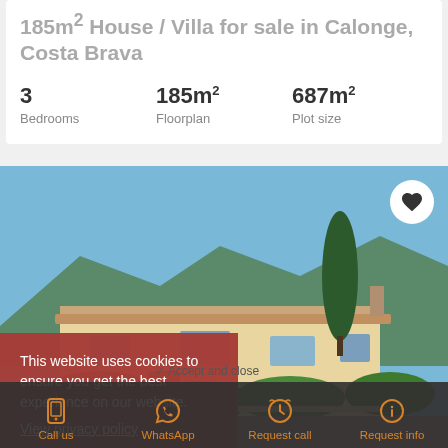185m² House / Villa for sale in Calonge, Costa Brava
3 Bedrooms | 185m² Floorplan | 687m² Plot size
[Figure (photo): Exterior photo of a villa in Calonge, Costa Brava — white rendered house with tiled roof, tall cypress tree, lush green garden, mountains in background, blue sky.]
This website uses cookies to ensure you get the best experience on our website. View privacy policy
Call us | WhatsApp | Request call | Request info
€550,000